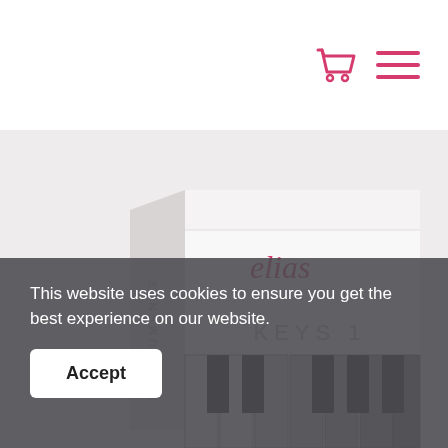[Figure (screenshot): Website header with shopping cart icon and hamburger menu icon in pink/red color on white background]
[Figure (photo): Product box for 'elias INSTRUMENTS KEYS 1' showing a white box with the elias logo in pink script, text KEYS 1, and piano keys visible at the bottom, on a light gray background]
This website uses cookies to ensure you get the best experience on our website.
Accept